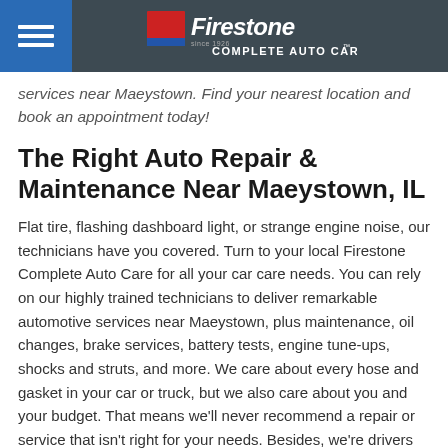Firestone Complete Auto Care
services near Maeystown. Find your nearest location and book an appointment today!
The Right Auto Repair & Maintenance Near Maeystown, IL
Flat tire, flashing dashboard light, or strange engine noise, our technicians have you covered. Turn to your local Firestone Complete Auto Care for all your car care needs. You can rely on our highly trained technicians to deliver remarkable automotive services near Maeystown, plus maintenance, oil changes, brake services, battery tests, engine tune-ups, shocks and struts, and more. We care about every hose and gasket in your car or truck, but we also care about you and your budget. That means we'll never recommend a repair or service that isn't right for your needs. Besides, we're drivers just like you! Plus, our Triple Promise Guarantee means that your car will be Fixed Right, Priced Right, and Done Right On Time. Given that there are 1,700 Firestone Complete Auto Care shops across the country,